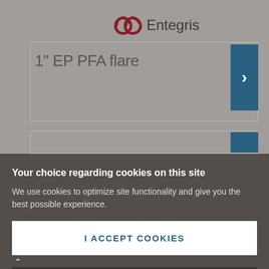[Figure (logo): Entegris logo with double loop mark in dark red and 'Entegris' wordmark in dark gray]
1" EP PFA flare
[Figure (screenshot): Website interface showing product listing with blue navigation arrow buttons on the right side]
Your choice regarding cookies on this site
We use cookies to optimize site functionality and give you the best possible experience.
I ACCEPT COOKIES
SETTINGS